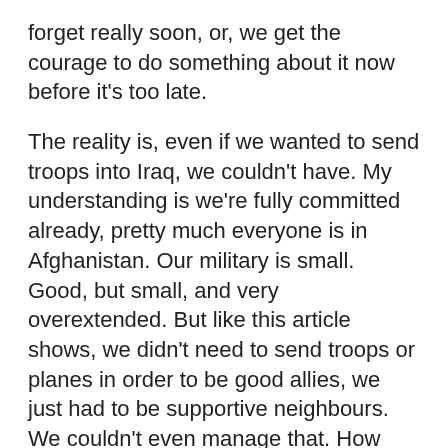forget really soon, or, we get the courage to do something about it now before it's too late.
The reality is, even if we wanted to send troops into Iraq, we couldn't have. My understanding is we're fully committed already, pretty much everyone is in Afghanistan. Our military is small. Good, but small, and very overextended. But like this article shows, we didn't need to send troops or planes in order to be good allies, we just had to be supportive neighbours. We couldn't even manage that. How embarassing.
This afternoon I saw a piece on CBC Newsworld about some heated discussion in the Canadian House of Commons today between the PQ and our Prime Minister. Apparently, 31 Canadian soldiers ARE in fact fighting with the coalition in Iraq, having been transferred to the armies of other coalition countries. So fellow Canadian, next time your American friend